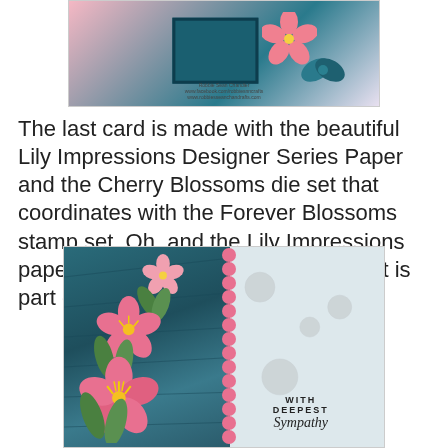[Figure (photo): A handmade greeting card with teal/navy background and pink flower embellishments, partially visible at top of page]
The last card is made with the beautiful Lily Impressions Designer Series Paper and the Cherry Blossoms die set that coordinates with the Forever Blossoms stamp set. Oh, and the Lily Impressions paper is FREE with a $50 purchase! It is part of our Saleabration promotion.
[Figure (photo): A handmade sympathy card featuring Lily Impressions Designer Series Paper with dark teal patterned background on left, light textured background on right, pink cherry blossom flowers with green leaves on the left side, pink scallop border in the middle, and the sentiment 'WITH DEEPEST Sympathy' on the right side]